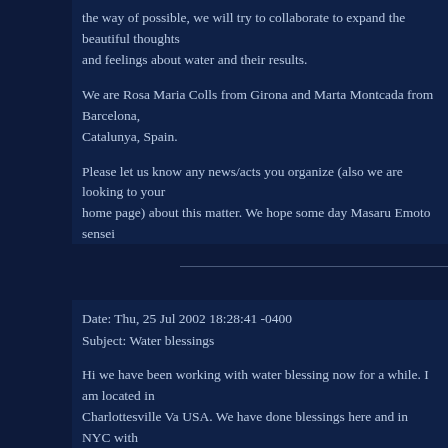the way of possible, we will try to collaborate to expand the beautiful thoughts and feelings about water and their results.
We are Rosa Maria Colls from Girona and Marta Montcada from Barcelona, Catalunya, Spain.
Please let us know any news/acts you organize (also we are looking to your home page) about this matter. We hope some day Masaru Emoto sensei will also visit our cities when coming to Europe, to expand the wisdom about water power.
Sincerely yours,
R. M. C. & M. M.
Date: Thu, 25 Jul 2002 18:28:41 -0400
Subject: Water blessings
Hi we have been working with water blessing now for a while. I am located in Charlottesville Va USA. We have done blessings here and in NYC with various groups. I am very happy to put this link up on our site and to help out by being a sponsor. Please see wisdomword link below to see Quan Yin's water blessing.
Thank you and thanks for your wonderful work.